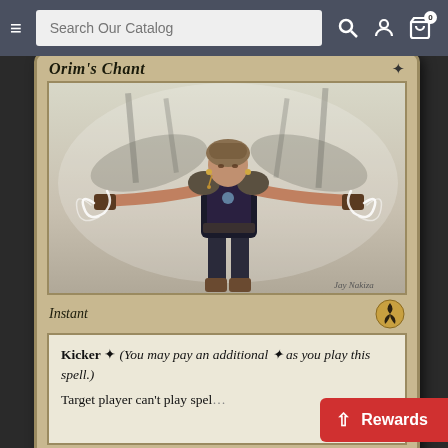Search Our Catalog
[Figure (illustration): Magic: The Gathering card scan showing 'Orim's Chant' - an Instant card. The card art depicts a female spellcaster with arms outstretched, glowing white energy spiraling from her hands, standing before a misty background with spear-like shapes. Card text reads: Kicker * (You may pay an additional * as you play this spell.) Target player can't play spel...]
Kicker * (You may pay an additional * as you play this spell.) Target player can't play spel...